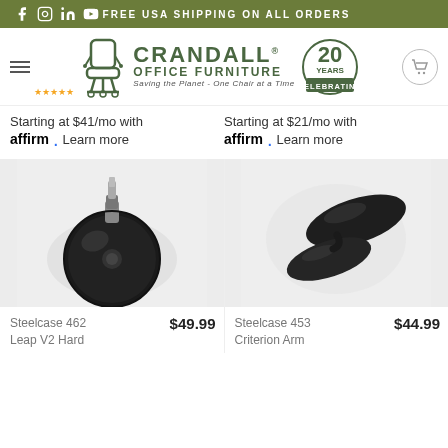FREE USA SHIPPING ON ALL ORDERS
[Figure (logo): Crandall Office Furniture logo with chair icon and 20 Years Celebrating badge]
Starting at $41/mo with affirm. Learn more
Starting at $21/mo with affirm. Learn more
[Figure (photo): Steelcase 462 Leap V2 Hard Floor caster wheel, black, shown from above with metal stem]
[Figure (photo): Steelcase 453 Criterion Arm pad, black oval-shaped armrest pad]
Steelcase 462 Leap V2 Hard
$49.99
Steelcase 453 Criterion Arm
$44.99